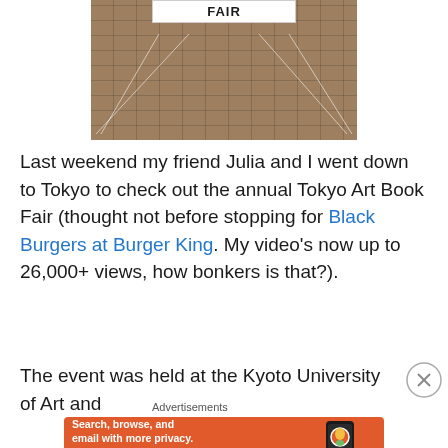[Figure (photo): Photo of a white banner reading 'FAIR' hanging on a brick/stone tiled wall surface, with ropes/cords stretching diagonally downward]
Last weekend my friend Julia and I went down to Tokyo to check out the annual Tokyo Art Book Fair (thought not before stopping for Black Burgers at Burger King. My video's now up to 26,000+ views, how bonkers is that?).
The event was held at the Kyoto University of Art and
Advertisements
[Figure (screenshot): DuckDuckGo advertisement banner: orange background with white text 'Search, browse, and email with more privacy.' and 'All in One Free App' button, with a phone mockup showing the DuckDuckGo app logo]